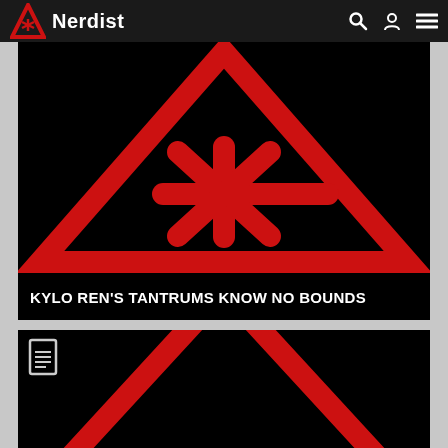Nerdist
[Figure (illustration): Red triangle warning sign with asterisk/snowflake symbol on black background - large graphic filling card area]
KYLO REN'S TANTRUMS KNOW NO BOUNDS
[Figure (illustration): Red triangle outline (top portion only) on black background with document icon in upper left corner]